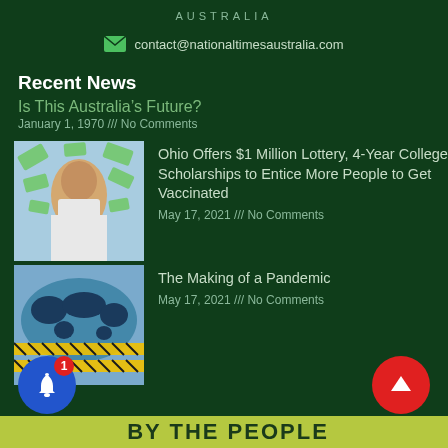AUSTRALIA
contact@nationaltimesaustralia.com
Recent News
Is This Australia's Future?
January 1, 1970 /// No Comments
[Figure (photo): Man in white t-shirt with money flying around him]
Ohio Offers $1 Million Lottery, 4-Year College Scholarships to Entice More People to Get Vaccinated
May 17, 2021 /// No Comments
[Figure (photo): World map with caution tape, pandemic themed image]
The Making of a Pandemic
May 17, 2021 /// No Comments